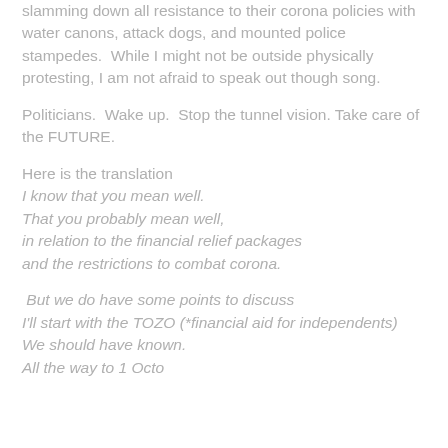slamming down all resistance to their corona policies with water canons, attack dogs, and mounted police stampedes. While I might not be outside physically protesting, I am not afraid to speak out though song.
Politicians. Wake up. Stop the tunnel vision. Take care of the FUTURE.
Here is the translation
I know that you mean well.
That you probably mean well,
in relation to the financial relief packages
and the restrictions to combat corona.
But we do have some points to discuss
I'll start with the TOZO (*financial aid for independents)
We should have known.
All the way to 1 October, and not 1 July: